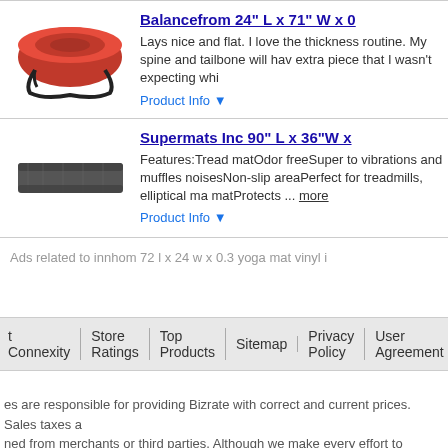[Figure (photo): Red rolled yoga mat with black strap]
Balancefrom 24" L x 71" W x 0
Lays nice and flat. I love the thickness routine. My spine and tailbone will hav extra piece that I wasn't expecting whi
Product Info ▼
[Figure (photo): Black exercise/treadmill mat]
Supermats Inc 90" L x 36"W x
Features:Tread matOdor freeSuper to vibrations and muffles noisesNon-slip areaPerfect for treadmills, elliptical ma matProtects ... more
Product Info ▼
Ads related to innhom 72 l x 24 w x 0.3 yoga mat vinyl i
t Connexity   Store Ratings   Top Products   Sitemap   Privacy Policy   User Agreement
es are responsible for providing Bizrate with correct and current prices. Sales taxes a ned from merchants or third parties. Although we make every effort to present accura repancies by clicking here.